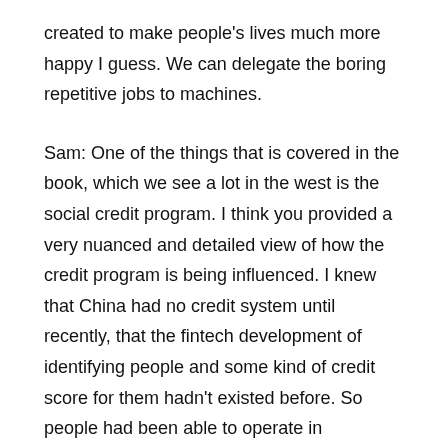created to make people's lives much more happy I guess. We can delegate the boring repetitive jobs to machines.
Sam: One of the things that is covered in the book, which we see a lot in the west is the social credit program. I think you provided a very nuanced and detailed view of how the credit program is being influenced. I knew that China had no credit system until recently, that the fintech development of identifying people and some kind of credit score for them hadn't existed before. So people had been able to operate in fraudulent manners and take loans from any different providers, and there was no connecting network between those providers to identify those people or prevent fraud. One of the major reasons for implementing the social credit